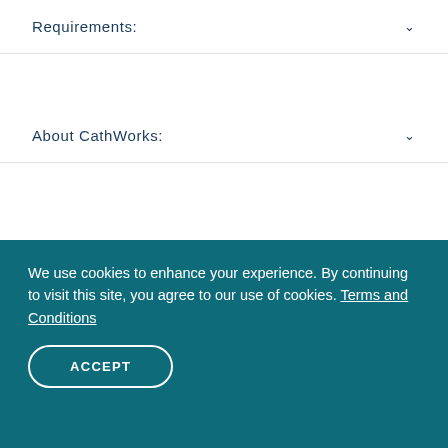Requirements:
About CathWorks:
Equal Opportunity Employer:
Apply for this position
We use cookies to enhance your experience. By continuing to visit this site, you agree to our use of cookies. Terms and Conditions
ACCEPT